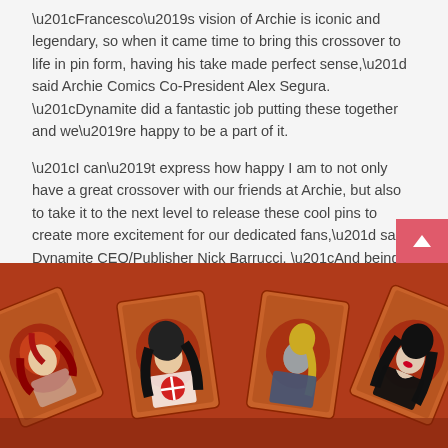“Francesco’s vision of Archie is iconic and legendary, so when it came time to bring this crossover to life in pin form, having his take made perfect sense,” said Archie Comics Co-President Alex Segura. “Dynamite did a fantastic job putting these together and we’re happy to be a part of it.
“I can’t express how happy I am to not only have a great crossover with our friends at Archie, but also to take it to the next level to release these cool pins to create more excitement for our dedicated fans,” said Dynamite CEO/Publisher Nick Barrucci. “And being able to work with Francesco Francavilla to design these, well, words can’t express how excited I am!”
[Figure (illustration): Four illustrated character cards fanned out showing comic-book style characters with red and dark color scheme on a brown/orange background, featuring female characters with stylized artwork.]